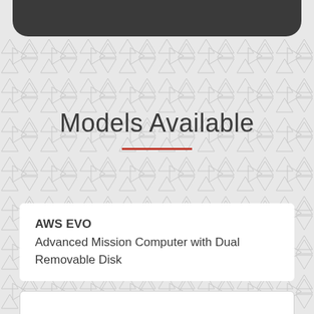[Figure (other): Dark rounded header bar at the top of the page]
Models Available
AWS EVO
Advanced Mission Computer with Dual Removable Disk